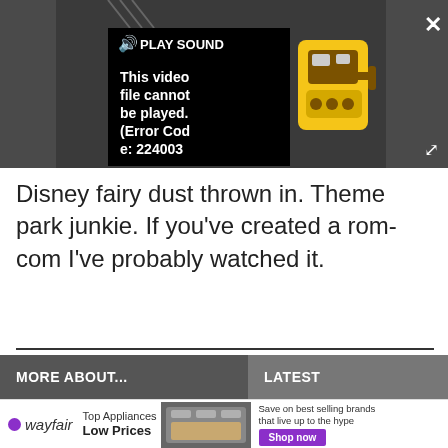[Figure (screenshot): Video player showing error message 'This video file cannot be played. (Error Code: 224003)' with a Play Sound button, a yellow robot/vacuum cleaner icon, a close X button, and an expand arrow. Player background is dark gray.]
Disney fairy dust thrown in. Theme park junkie. If you've created a rom-com I've probably watched it.
MORE ABOUT...
LATEST
[Figure (screenshot): Wayfair advertisement banner: Wayfair logo on left, 'Top Appliances Low Prices' text, image of a stove/range in center, and 'Save on best selling brands that live up to the hype' with purple 'Shop now' button on right. Close X button in top-right corner.]